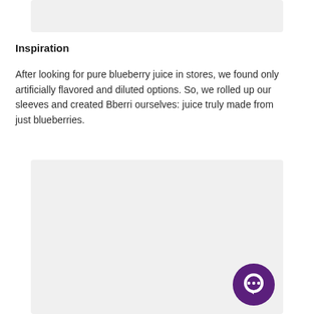[Figure (other): Gray placeholder image block at top of page]
Inspiration
After looking for pure blueberry juice in stores, we found only artificially flavored and diluted options. So, we rolled up our sleeves and created Bberri ourselves: juice truly made from just blueberries.
[Figure (other): Gray placeholder image block at bottom of page with a purple chat bubble icon in the bottom-right corner]